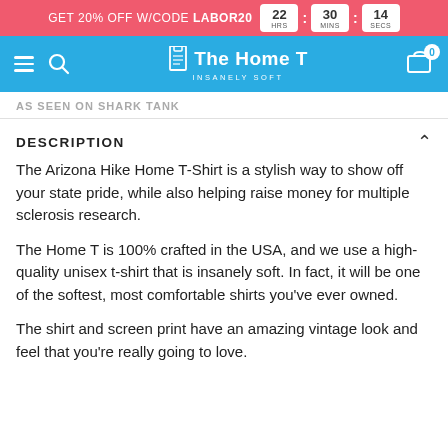GET 20% OFF W/CODE LABOR20  22 HRS : 30 MINS : 14 SECS
[Figure (screenshot): Navigation bar with hamburger menu, search icon, The Home T logo (INSANELY SOFT), and cart icon with badge 0]
AS SEEN ON SHARK TANK
DESCRIPTION
The Arizona Hike Home T-Shirt is a stylish way to show off your state pride, while also helping raise money for multiple sclerosis research.
The Home T is 100% crafted in the USA, and we use a high-quality unisex t-shirt that is insanely soft. In fact, it will be one of the softest, most comfortable shirts you've ever owned.
The shirt and screen print have an amazing vintage look and feel that you're really going to love.